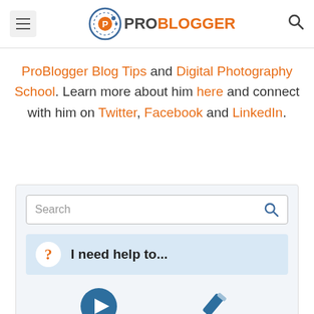ProBlogger
ProBlogger Blog Tips and Digital Photography School. Learn more about him here and connect with him on Twitter, Facebook and LinkedIn.
[Figure (screenshot): Search box with magnifying glass icon, then 'I need help to...' banner with question mark icon, and two icons below (play button and pencil)]